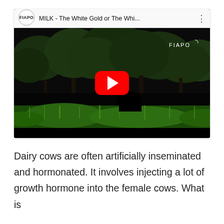[Figure (screenshot): A YouTube video embed showing a thumbnail of cows in a green field with trees. The video title reads 'MILK - The White Gold or The Whi...' with the FIAPO channel logo. A red play button is centered on the thumbnail. The FIAPO watermark appears in the top right corner of the video.]
Dairy cows are often artificially inseminated and hormonated. It involves injecting a lot of growth hormone into the female cows. What is